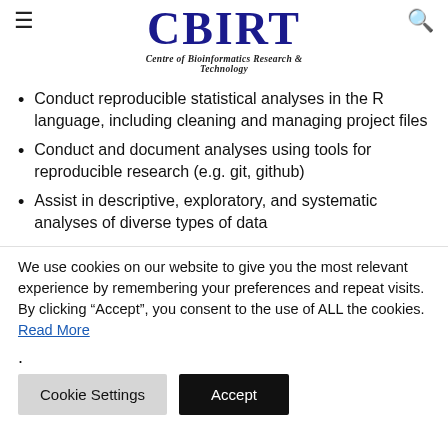CBIRT — Centre of Bioinformatics Research & Technology
Conduct reproducible statistical analyses in the R language, including cleaning and managing project files
Conduct and document analyses using tools for reproducible research (e.g. git, github)
Assist in descriptive, exploratory, and systematic analyses of diverse types of data
We use cookies on our website to give you the most relevant experience by remembering your preferences and repeat visits. By clicking “Accept”, you consent to the use of ALL the cookies. Read More
.
Cookie Settings   Accept